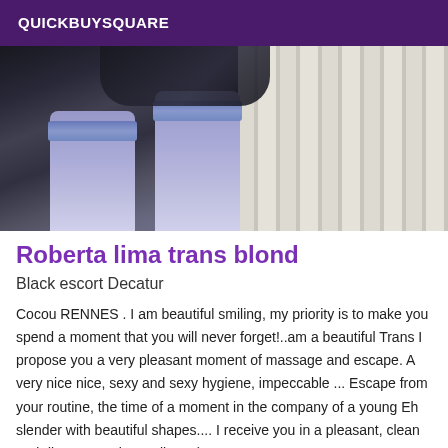QUICKBUYSQUARE
[Figure (photo): Photo showing legs wearing blue lace-top stockings on stairs]
Roberta lima trans blond
Black escort Decatur
Cocou RENNES . I am beautiful smiling, my priority is to make you spend a moment that you will never forget!..am a beautiful Trans I propose you a very pleasant moment of massage and escape. A very nice nice, sexy and sexy hygiene, impeccable ... Escape from your routine, the time of a moment in the company of a young Eh slender with beautiful shapes.... I receive you in a pleasant, clean and discreet setting, call me :) .